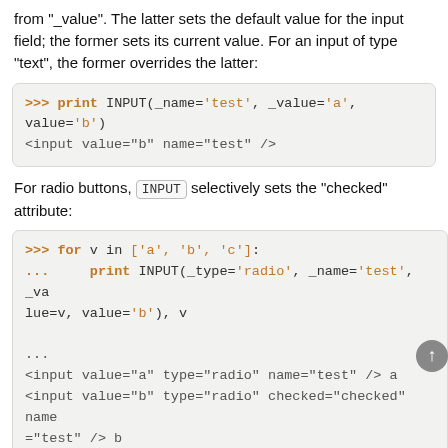from "_value". The latter sets the default value for the input field; the former sets its current value. For an input of type "text", the former overrides the latter:
>>> print INPUT(_name='test', _value='a', value='b')
<input value="b" name="test" />
For radio buttons, INPUT selectively sets the "checked" attribute:
>>> for v in ['a', 'b', 'c']:
...     print INPUT(_type='radio', _name='test', _value=v, value='b'), v
...
<input value="a" type="radio" name="test" /> a
<input value="b" type="radio" checked="checked" name="test" /> b
<input value="c" type="radio" name="test" /> c
and similarly for checkboxes:
>>> print INPUT(_type='checkbox', _name='test',